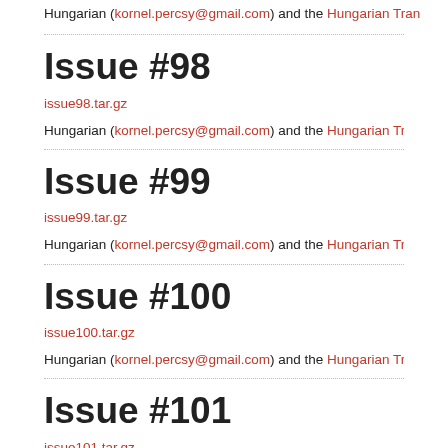Hungarian (kornel.percsy@gmail.com) and the Hungarian Tran
Issue #98
issue98.tar.gz
Hungarian (kornel.percsy@gmail.com) and the Hungarian Tran
Issue #99
issue99.tar.gz
Hungarian (kornel.percsy@gmail.com) and the Hungarian Tran
Issue #100
issue100.tar.gz
Hungarian (kornel.percsy@gmail.com) and the Hungarian Tran
Issue #101
issue101.tar.gz